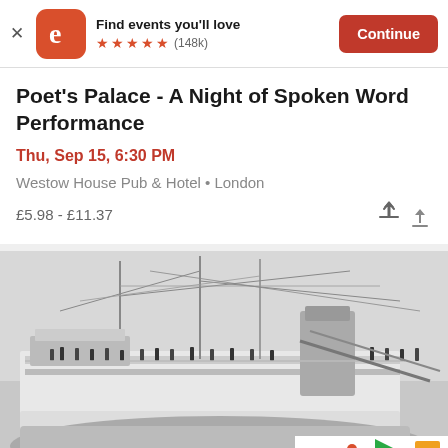[Figure (screenshot): App banner with Eventbrite logo, 'Find events you'll love', 5 star rating (148k), and Continue button]
Poet's Palace - A Night of Spoken Word Performance
Thu, Sep 15, 6:30 PM
Westow House Pub & Hotel • London
£5.98 - £11.37
[Figure (photo): Black and white historical photograph of a large passenger ship with people standing on the deck. Colorful logos visible at bottom right corner.]